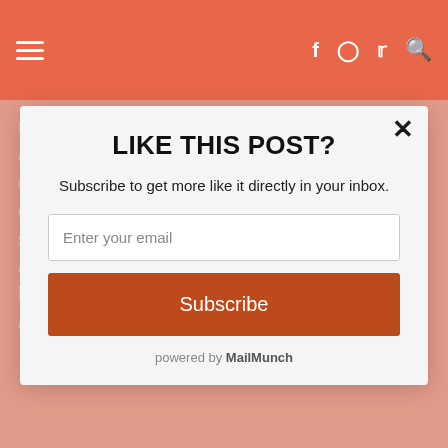makes no promises with building parents about promoting spy office concerns opportunity, upside and downside seems clear to any writer who examines the structure. Still, I am sympathetic to Carol and the plight of writers whose rates are being driven down down down one way or another.
LIKE THIS POST?
Subscribe to get more like it directly in your inbox.
Enter your email
Subscribe
powered by MailMunch